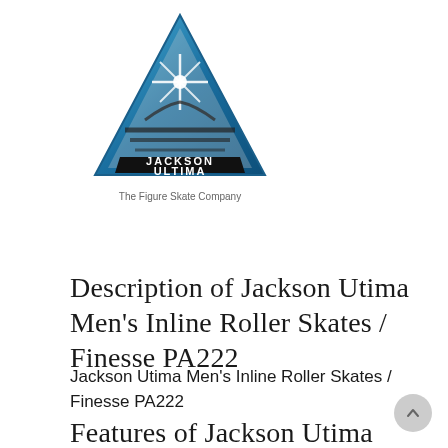[Figure (logo): Jackson Ultima logo — triangular blue and silver badge with a skate blade star graphic, text 'JACKSON ULTIMA' inside, and tagline 'The Figure Skate Company' below]
Description of Jackson Utima Men's Inline Roller Skates / Finesse PA222
Jackson Utima Men's Inline Roller Skates / Finesse PA222
Features of Jackson Utima Men's...